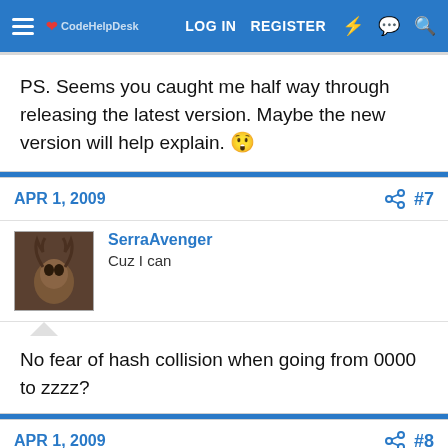LOG IN   REGISTER
PS. Seems you caught me half way through releasing the latest version. Maybe the new version will help explain. 😲
APR 1, 2009  #7
SerraAvenger
Cuz I can
No fear of hash collision when going from 0000 to zzzz?
APR 1, 2009  #8
Jesus4Lyf
Good Idea™